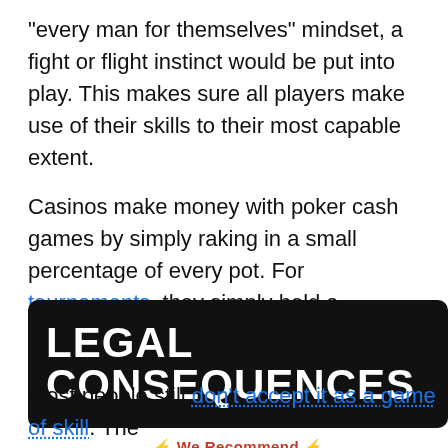"every man for themselves" mindset, a fight or flight instinct would be put into play. This makes sure all players make use of their skills to their most capable extent.
Casinos make money with poker cash games by simply raking in a small percentage of every pot. For tournaments, they simply hold a percentage of the entire prize pool.
LEGAL CONSEQUENCES
⚡ We Recommend ⚡
[Figure (logo): BetMGM logo with lion icon and 'See Poker Offers' button on dark background]
most people still don't accept it as a game of skill. The